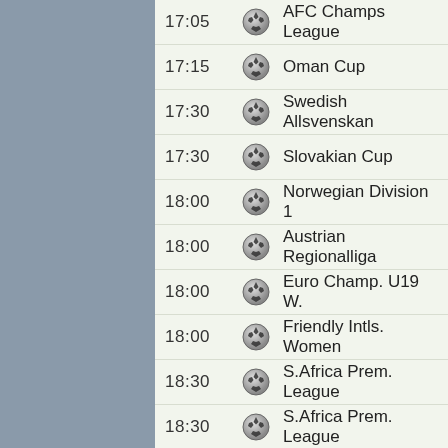17:05 AFC Champs League
17:15 Oman Cup
17:30 Swedish Allsvenskan
17:30 Slovakian Cup
18:00 Norwegian Division 1
18:00 Austrian Regionalliga
18:00 Euro Champ. U19 W.
18:00 Friendly Intls. Women
18:30 S.Africa Prem. League
18:30 S.Africa Prem. League
18:30 S.Africa Prem...